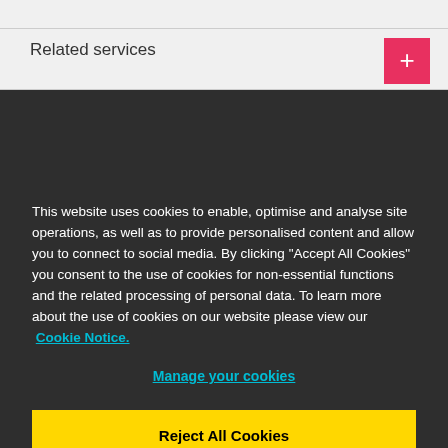Related services
This website uses cookies to enable, optimise and analyse site operations, as well as to provide personalised content and allow you to connect to social media. By clicking "Accept All Cookies" you consent to the use of cookies for non-essential functions and the related processing of personal data. To learn more about the use of cookies on our website please view our Cookie Notice.
Manage your cookies
Reject All Cookies
Accept All Cookies